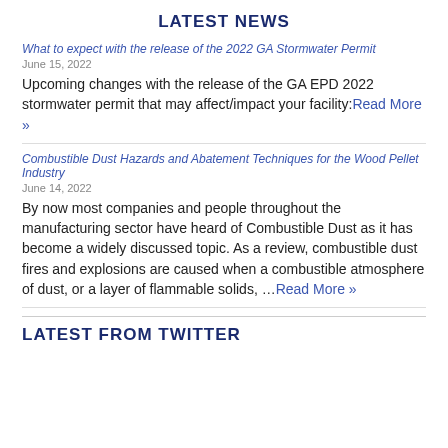LATEST NEWS
What to expect with the release of the 2022 GA Stormwater Permit
June 15, 2022
Upcoming changes with the release of the GA EPD 2022 stormwater permit that may affect/impact your facility:Read More »
Combustible Dust Hazards and Abatement Techniques for the Wood Pellet Industry
June 14, 2022
By now most companies and people throughout the manufacturing sector have heard of Combustible Dust as it has become a widely discussed topic. As a review, combustible dust fires and explosions are caused when a combustible atmosphere of dust, or a layer of flammable solids, ...Read More »
LATEST FROM TWITTER